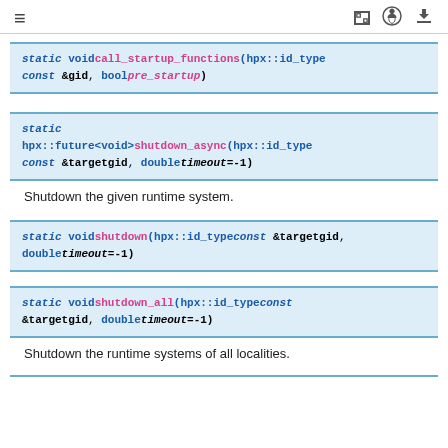≡  [ ]  (github icon)  (download icon)
static void call_startup_functions(hpx::id_type const &gid, bool pre_startup)
static hpx::future<void> shutdown_async(hpx::id_type const &targetgid, double timeout=-1)
Shutdown the given runtime system.
static void shutdown(hpx::id_type const &targetgid, double timeout=-1)
static void shutdown_all(hpx::id_type const &targetgid, double timeout=-1)
Shutdown the runtime systems of all localities.